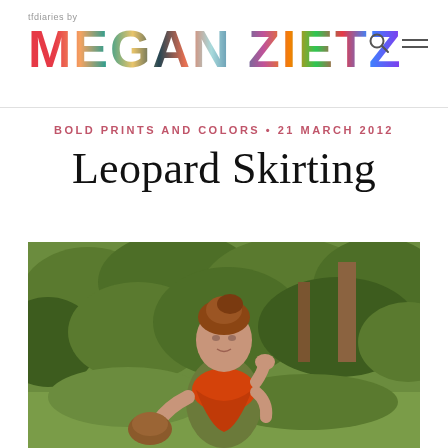tfdiaries by MEGAN ZIETZ
BOLD PRINTS AND COLORS • 21 MARCH 2012
Leopard Skirting
[Figure (photo): Young woman with auburn hair in an updo standing outdoors in front of green leafy bushes and trees, wearing an olive/green top and a bright orange-red scarf, holding a brown leather bag]